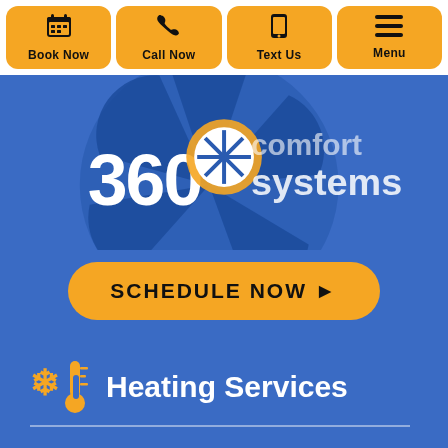Book Now | Call Now | Text Us | Menu
[Figure (logo): 360 Comfort Systems logo with circular snowflake/fan graphic in blue and white, partial view]
SCHEDULE NOW ▶
Heating Services